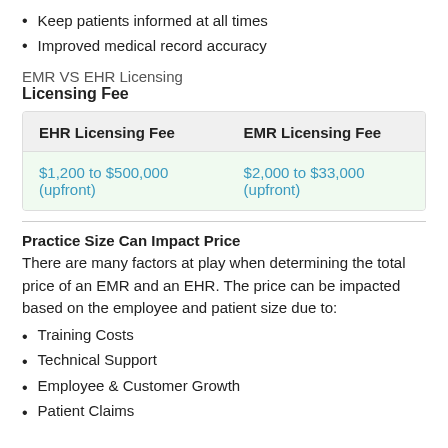Keep patients informed at all times
Improved medical record accuracy
EMR VS EHR Licensing
Licensing Fee
| EHR Licensing Fee | EMR Licensing Fee |
| --- | --- |
| $1,200 to $500,000 (upfront) | $2,000 to $33,000 (upfront) |
Practice Size Can Impact Price
There are many factors at play when determining the total price of an EMR and an EHR. The price can be impacted based on the employee and patient size due to:
Training Costs
Technical Support
Employee & Customer Growth
Patient Claims